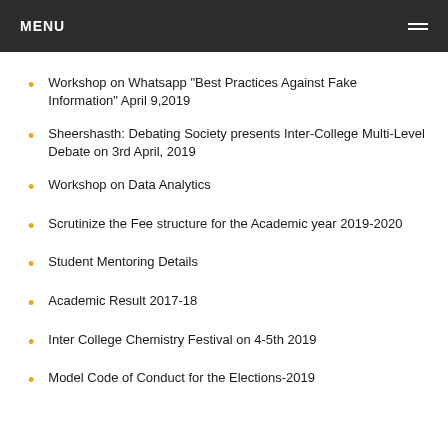MENU
Workshop on Whatsapp "Best Practices Against Fake Information" April 9,2019
Sheershasth: Debating Society presents Inter-College Multi-Level Debate on 3rd April, 2019
Workshop on Data Analytics
Scrutinize the Fee structure for the Academic year 2019-2020
Student Mentoring Details
Academic Result 2017-18
Inter College Chemistry Festival on 4-5th 2019
Model Code of Conduct for the Elections-2019